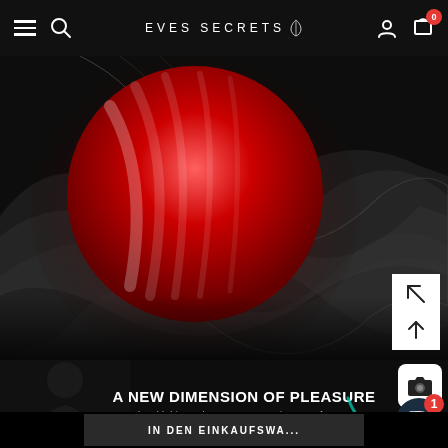EVES SECRETS
[Figure (illustration): Abstract dark background with a large red glowing sphere and flowing grey smoke-like ribbons on black background]
A NEW DIMENSION OF PLEASURE
The old driver takes you on a new journey of senses
IN DEN EINKAUFSWA...